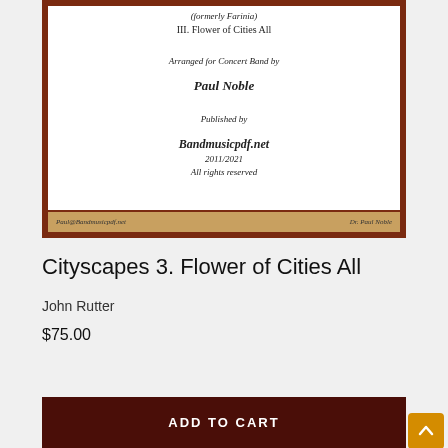[Figure (illustration): Sheet music cover for 'Cityscapes - III. Flower of Cities All', arranged for Concert Band by Paul Noble, published by Bandmusicpdf.net 2011/2021, all rights reserved. Dark red border with tan footer strip showing Paul@Bandmusicpdf.net on left and Dr. Paul Noble on right.]
Cityscapes 3. Flower of Cities All
John Rutter
$75.00
ADD TO CART